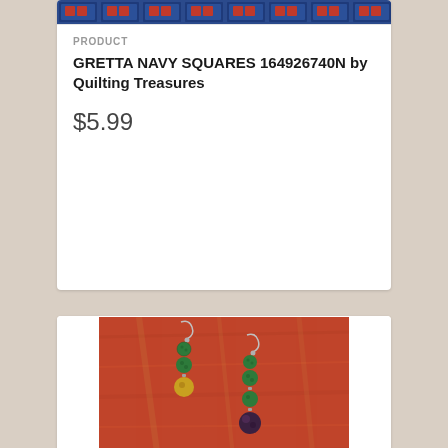[Figure (photo): Fabric strip showing GRETTA NAVY SQUARES quilting fabric pattern with navy blue geometric square designs on a strip]
PRODUCT
GRETTA NAVY SQUARES 164926740N by Quilting Treasures
$5.99
[Figure (photo): Handmade beaded earrings with silver fish hook, green textured beads and dark gemstone bead drops, photographed against a red wooden background]
PRODUCT
ROSA HANDMADE EARRINGS
$5.99